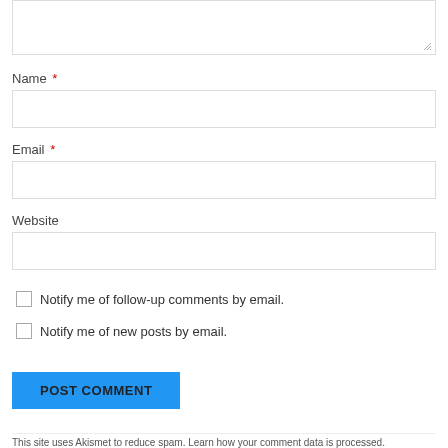[Figure (screenshot): Text area input box at top of page, partially visible, with resize handle at bottom-right corner]
Name *
[Figure (screenshot): Name input field, empty, with border]
Email *
[Figure (screenshot): Email input field, empty, with border]
Website
[Figure (screenshot): Website input field, empty, with border]
Notify me of follow-up comments by email.
Notify me of new posts by email.
POST COMMENT
This site uses Akismet to reduce spam. Learn how your comment data is processed.